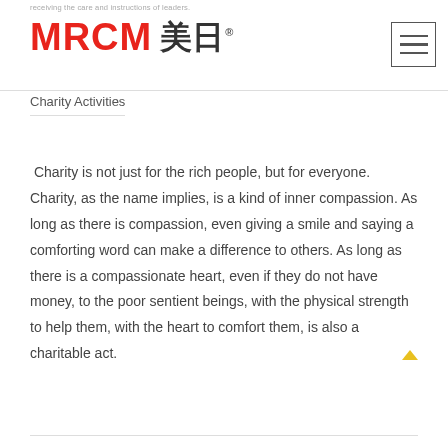receiving the care and instructions of leaders.
[Figure (logo): MRCM 美日 company logo with red MRCM text and Chinese characters, with registered trademark symbol]
Charity Activities
Charity is not just for the rich people, but for everyone. Charity, as the name implies, is a kind of inner compassion. As long as there is compassion, even giving a smile and saying a comforting word can make a difference to others. As long as there is a compassionate heart, even if they do not have money, to the poor sentient beings, with the physical strength to help them, with the heart to comfort them, is also a charitable act.